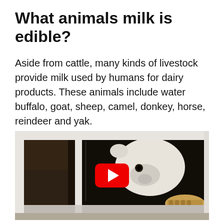What animals milk is edible?
Aside from cattle, many kinds of livestock provide milk used by humans for dairy products. These animals include water buffalo, goat, sheep, camel, donkey, horse, reindeer and yak.
[Figure (photo): Video thumbnail showing a white polar bear cub looking through a window, with a YouTube play button overlay. The bear appears to be pressing against a glass window pane.]